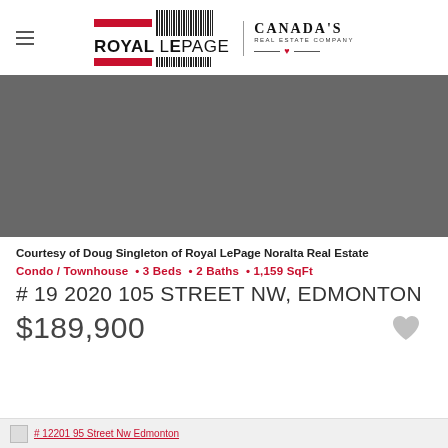Royal LePage — Canada's Real Estate Company
[Figure (photo): Property listing photo placeholder — dark grey rectangle]
Courtesy of Doug Singleton of Royal LePage Noralta Real Estate
Condo / Townhouse • 3 Beds • 2 Baths • 1,159 SqFt
# 19 2020 105 STREET NW, EDMONTON
$189,900
# 12201 95 Street Nw Edmonton